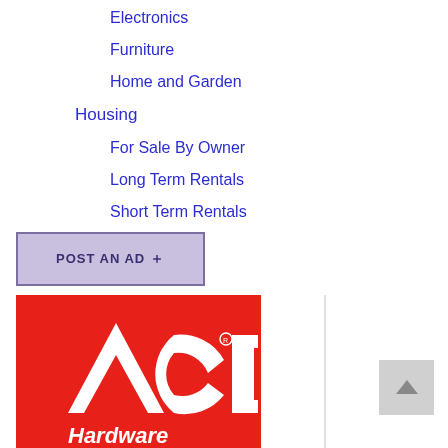Electronics
Furniture
Home and Garden
Housing
For Sale By Owner
Long Term Rentals
Short Term Rentals
Jobs
Pets
POST AN AD +
[Figure (logo): ACE Hardware logo on red background with white letters]